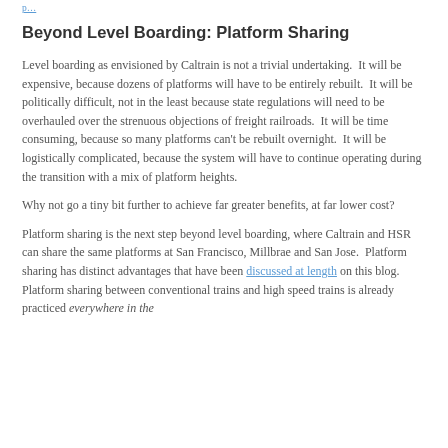p… [link text truncated]
Beyond Level Boarding: Platform Sharing
Level boarding as envisioned by Caltrain is not a trivial undertaking.  It will be expensive, because dozens of platforms will have to be entirely rebuilt.  It will be politically difficult, not in the least because state regulations will need to be overhauled over the strenuous objections of freight railroads.  It will be time consuming, because so many platforms can't be rebuilt overnight.  It will be logistically complicated, because the system will have to continue operating during the transition with a mix of platform heights.
Why not go a tiny bit further to achieve far greater benefits, at far lower cost?
Platform sharing is the next step beyond level boarding, where Caltrain and HSR can share the same platforms at San Francisco, Millbrae and San Jose.  Platform sharing has distinct advantages that have been discussed at length on this blog.  Platform sharing between conventional trains and high speed trains is already practiced everywhere in the